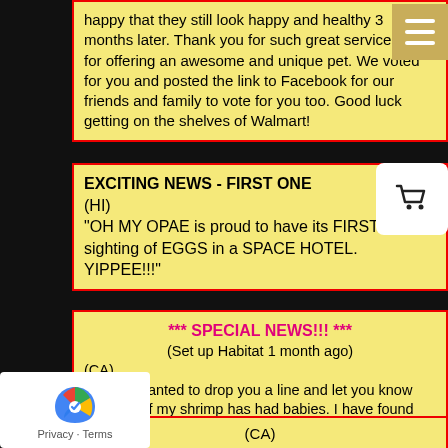happy that they still look happy and healthy 3 months later. Thank you for such great service and for offering an awesome and unique pet. We voted for you and posted the link to Facebook for our friends and family to vote for you too. Good luck getting on the shelves of Walmart!
EXCITING NEWS - FIRST ONE
(HI)
"OH MY OPAE is proud to have its FIRST sighting of EGGS in a SPACE HOTEL. YIPPEE!!!"
*** SPECIAL NEWS!!! ***
(Set up Habitat 1 month ago)
(CA)
"Hi, just wanted to drop you a line and let you know that one of my shrimp has had babies. I have found little white things swimming around. How cool is that!! Thank you"
(CA)
"My shrimp arrived a couple of days ago and